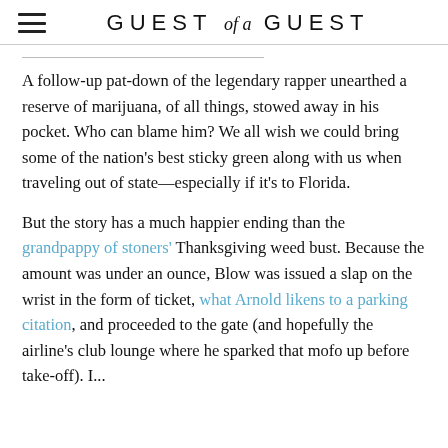GUEST of a GUEST
A follow-up pat-down of the legendary rapper unearthed a reserve of marijuana, of all things, stowed away in his pocket. Who can blame him? We all wish we could bring some of the nation's best sticky green along with us when traveling out of state—especially if it's to Florida.
But the story has a much happier ending than the grandpappy of stoners' Thanksgiving weed bust. Because the amount was under an ounce, Blow was issued a slap on the wrist in the form of ticket, what Arnold likens to a parking citation, and proceeded to the gate (and hopefully the airline's club lounge where he sparked that mofo up before take-off). I...